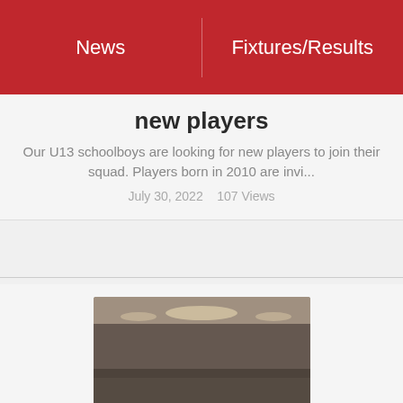News   Fixtures/Results
new players
Our U13 schoolboys are looking for new players to join their squad. Players born in 2010 are invi...
July 30, 2022    107 Views
[Figure (photo): Photo of a packed community centre hall with children seated on the floor and figures standing on a stage]
Schoolboy / Schoolgirl Awards 2021-2022
Great night, last Friday night, in a packed Newport Community Centre for our Schoolboy / Schoolgi...
July 30, 2022    201 Views